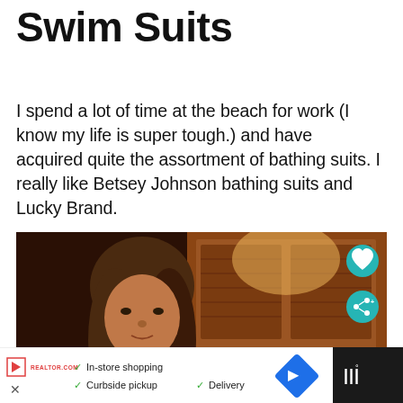Swim Suits
I spend a lot of time at the beach for work (I know my life is super tough.) and have acquired quite the assortment of bathing suits. I really like Betsey Johnson bathing suits and Lucky Brand.
[Figure (photo): Woman taking a mirror selfie with a smartphone in a room with wood-paneled door in the background. Two teal circular icon buttons (heart and share) overlay the right side. A 'What's Next' card shows 'Outfits for Disney' in the lower right corner.]
[Figure (screenshot): Advertisement bar at the bottom showing In-store shopping, Curbside pickup, Delivery checkmarks with a blue diamond navigation icon, a dark panel with TV logo on the right.]